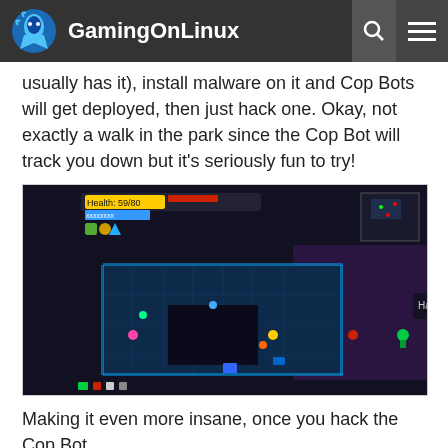GamingOnLinux
usually has it), install malware on it and Cop Bots will get deployed, then just hack one. Okay, not exactly a walk in the park since the Cop Bot will track you down but it's seriously fun to try!
[Figure (screenshot): Game screenshot showing a top-down cyberpunk game with HUD showing Health: 59/80, a Cop Bot with 'Hack detected, locating source.' message and 'Hacking...' dialog box, blue tile-based environment with various colored characters]
Making it even more insane, once you hack the Cop Bot...